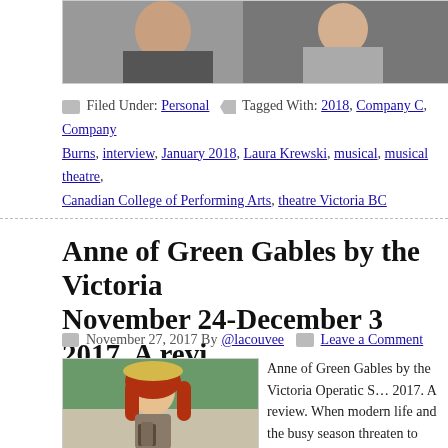[Figure (photo): A partial photo showing two people, cropped at the top of the page]
(Broadway)—and the iconic 1972 movie … [Rea…
Filed Under: Personal   Tagged With: 2018, Company C, Company Burns, interview, January 2018, Laura Krewski, musical, musical theatre, Canadian College of Performing Arts, theatre Victoria BC
Anne of Green Gables by the Victoria  November 24-December 3 2017. A revi…
November 27, 2017 By @lacouvee   Leave a Comment
[Figure (photo): A woman with red braided hair wearing a hat and holding books, dressed as Anne of Green Gables, standing outdoors]
Anne of Green Gables by the Victoria Operatic S… 2017. A review. When modern life and the busy season threaten to overwhelm, what comfort the… and iconic Canadian tale—Anne of Green Gable… red hair has captured people's attention since th… Maud Montgomery) was published in … [Read m…